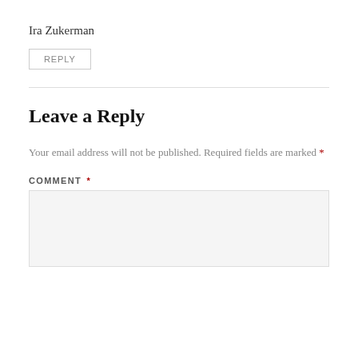Ira Zukerman
REPLY
Leave a Reply
Your email address will not be published. Required fields are marked *
COMMENT *